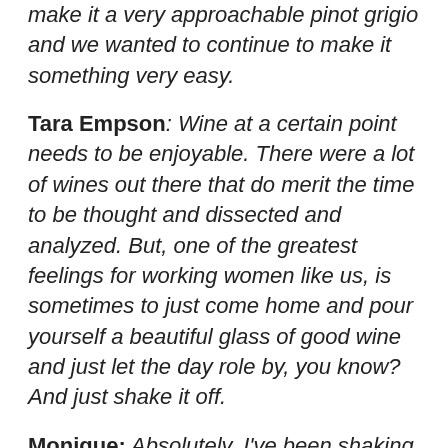make it a very approachable pinot grigio and we wanted to continue to make it something very easy.
Tara Empson: Wine at a certain point needs to be enjoyable. There were a lot of wines out there that do merit the time to be thought and dissected and analyzed. But, one of the greatest feelings for working women like us, is sometimes to just come home and pour yourself a beautiful glass of good wine and just let the day role by, you know? And just shake it off.
Monique: Absolutely. I've been shaking off...